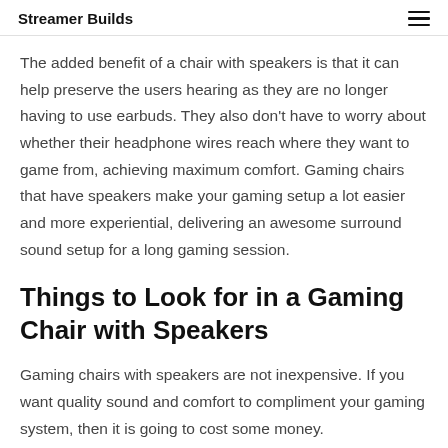Streamer Builds
The added benefit of a chair with speakers is that it can help preserve the users hearing as they are no longer having to use earbuds. They also don't have to worry about whether their headphone wires reach where they want to game from, achieving maximum comfort. Gaming chairs that have speakers make your gaming setup a lot easier and more experiential, delivering an awesome surround sound setup for a long gaming session.
Things to Look for in a Gaming Chair with Speakers
Gaming chairs with speakers are not inexpensive. If you want quality sound and comfort to compliment your gaming system, then it is going to cost some money.